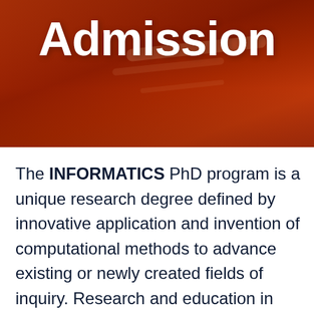[Figure (photo): Dark red/orange header banner with ceiling photo background and diagonal light streaks. White bold title 'Admission' centered on the banner.]
Admission
The INFORMATICS PhD program is a unique research degree defined by innovative application and invention of computational methods to advance existing or newly created fields of inquiry. Research and education in informatics has a strong interdisciplinary flavor as it involves experts in the information and computation foundations together with experts in the